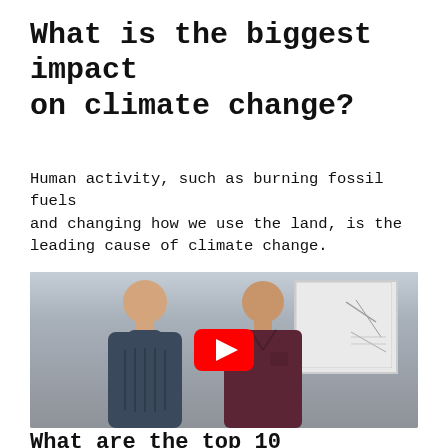What is the biggest impact on climate change?
Human activity, such as burning fossil fuels and changing how we use the land, is the leading cause of climate change.
[Figure (photo): Two men standing in front of a whiteboard, with a YouTube play button overlay in the center of the image.]
What are the top 10